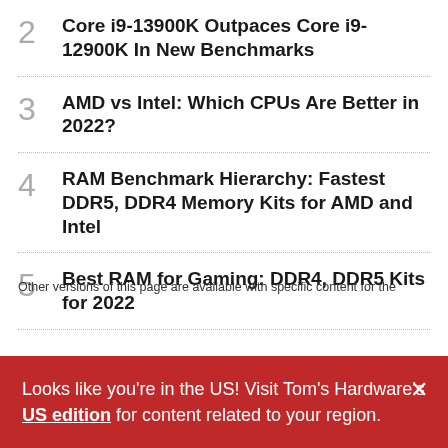2 Core i9-13900K Outpaces Core i9-12900K In New Benchmarks
3 AMD vs Intel: Which CPUs Are Better in 2022?
4 RAM Benchmark Hierarchy: Fastest DDR5, DDR4 Memory Kits for AMD and Intel
5 Best RAM for Gaming: DDR4, DDR5 Kits for 2022
Other versions of this page are available with specific content for the
Looks like you're in the US! Visit Tom's Hardware's US edition for content related to your region.